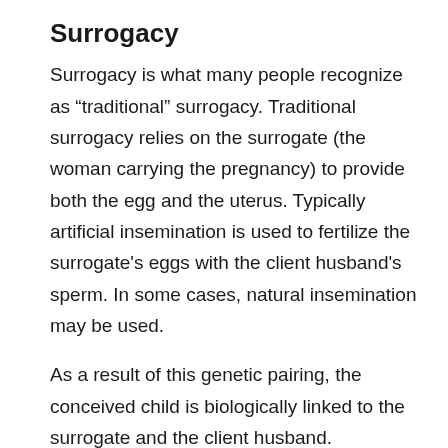Surrogacy
Surrogacy is what many people recognize as “traditional” surrogacy. Traditional surrogacy relies on the surrogate (the woman carrying the pregnancy) to provide both the egg and the uterus. Typically artificial insemination is used to fertilize the surrogate's eggs with the client husband's sperm. In some cases, natural insemination may be used.
As a result of this genetic pairing, the conceived child is biologically linked to the surrogate and the client husband.